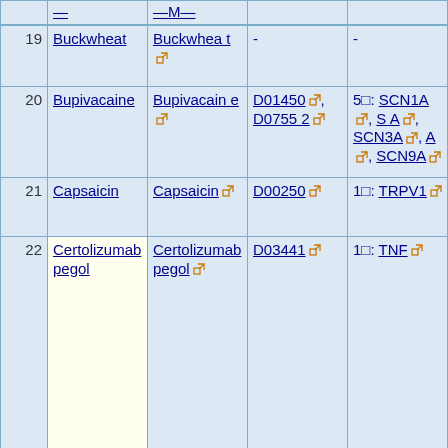| # | Drug | DrugBank | KEGG Drug | Targets |
| --- | --- | --- | --- | --- |
| 19 | Buckwheat | Buckwheat | - | - |
| 20 | Bupivacaine | Bupivacaine | D01450, D07552 | 50: SCN1A, S A, SCN3A, A, SCN9A |
| 21 | Capsaicin | Capsaicin | D00250 | 10: TRPV1 |
| 22 | Certolizumab pegol | Certolizumab pegol | D03441 | 10: TNF |